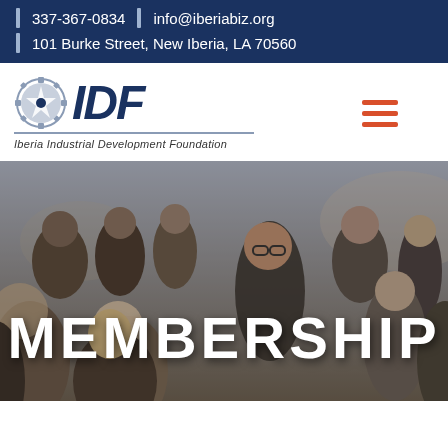337-367-0834  |  info@iberiabiz.org  |  101 Burke Street, New Iberia, LA 70560
[Figure (logo): IDF Iberia Industrial Development Foundation logo with gear icon]
[Figure (photo): Crowd of business professionals at a networking event with 'MEMBERSHIP' text overlay]
MEMBERSHIP